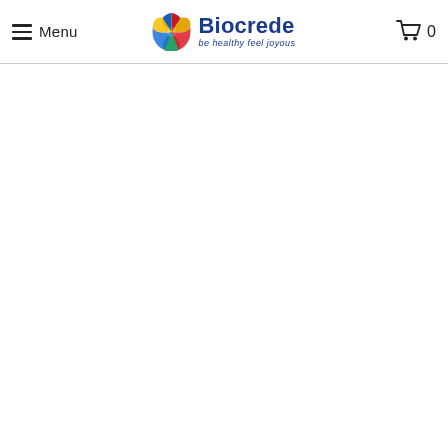Menu | Biocrede — be healthy feel joyous | Cart 0